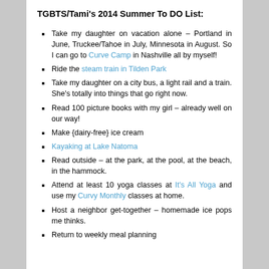TGBTS/Tami's 2014 Summer To DO List:
Take my daughter on vacation alone – Portland in June, Truckee/Tahoe in July, Minnesota in August. So I can go to Curve Camp in Nashville all by myself!
Ride the steam train in Tilden Park
Take my daughter on a city bus, a light rail and a train. She's totally into things that go right now.
Read 100 picture books with my girl – already well on our way!
Make {dairy-free} ice cream
Kayaking at Lake Natoma
Read outside – at the park, at the pool, at the beach, in the hammock.
Attend at least 10 yoga classes at It's All Yoga and use my Curvy Monthly classes at home.
Host a neighbor get-together – homemade ice pops me thinks.
Return to weekly meal planning